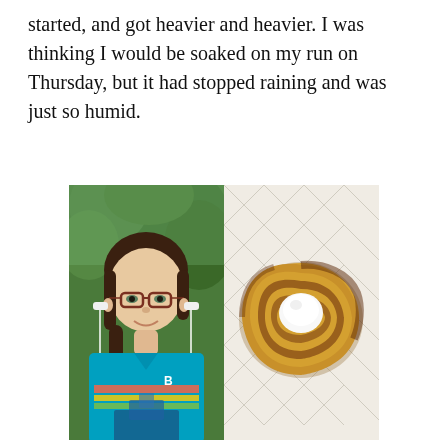started, and got heavier and heavier. I was thinking I would be soaked on my run on Thursday, but it had stopped raining and was just so humid.
[Figure (photo): Two side-by-side photos: left photo shows a woman with brown hair in a ponytail wearing glasses, white earphones, and a teal/blue athletic shirt with colorful graphic design, taking a selfie outdoors with green foliage behind her; right photo shows a cinnamon roll or similar pastry with a swirled golden-brown dough topped with a white cream/frosting dollop, on a geometric patterned white surface.]